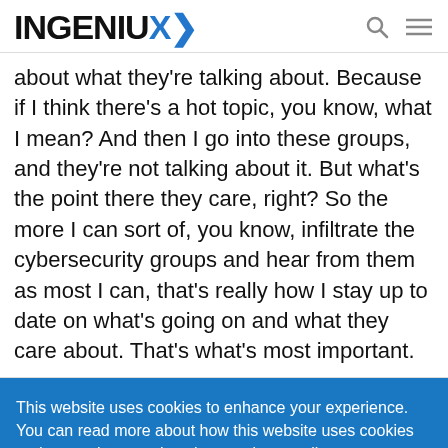INGENIUX
about what they're talking about. Because if I think there's a hot topic, you know, what I mean? And then I go into these groups, and they're not talking about it. But what's the point there they care, right? So the more I can sort of, you know, infiltrate the cybersecurity groups and hear from them as most I can, that's really how I stay up to date on what's going on and what they care about. That's what's most important.
This website uses cookies to enhance your experience. You can read more about how this website uses cookies and your privacy options in our privacy policy.
ACCEPT